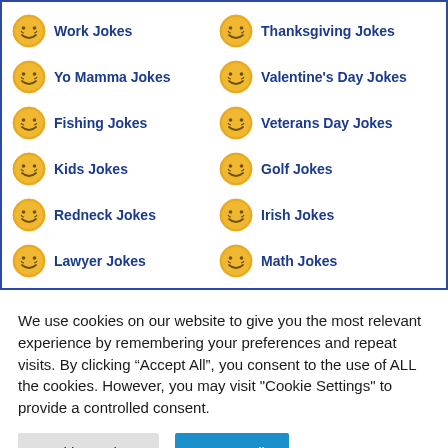Work Jokes
Thanksgiving Jokes
Yo Mamma Jokes
Valentine's Day Jokes
Fishing Jokes
Veterans Day Jokes
Kids Jokes
Golf Jokes
Redneck Jokes
Irish Jokes
Lawyer Jokes
Math Jokes
We use cookies on our website to give you the most relevant experience by remembering your preferences and repeat visits. By clicking “Accept All”, you consent to the use of ALL the cookies. However, you may visit "Cookie Settings" to provide a controlled consent.